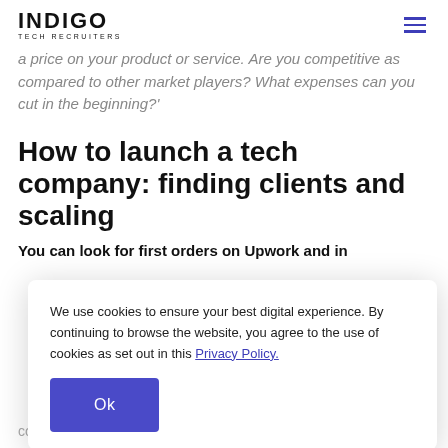INDIGO TECH RECRUITERS
a price on your product or service. Are you competitive as compared to other market players? What expenses can you cut in the beginning?'
How to launch a tech company: finding clients and scaling
You can look for first orders on Upwork and in
We use cookies to ensure your best digital experience. By continuing to browse the website, you agree to the use of cookies as set out in this Privacy Policy.
Ok
contact them on Facebook or messengers. It's